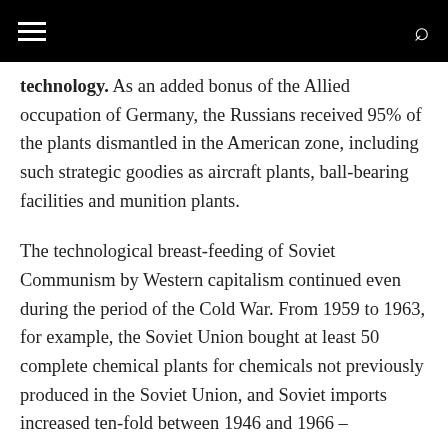[navigation bar with hamburger menu and search icon]
technology. As an added bonus of the Allied occupation of Germany, the Russians received 95% of the plants dismantled in the American zone, including such strategic goodies as aircraft plants, ball-bearing facilities and munition plants.
The technological breast-feeding of Soviet Communism by Western capitalism continued even during the period of the Cold War. From 1959 to 1963, for example, the Soviet Union bought at least 50 complete chemical plants for chemicals not previously produced in the Soviet Union, and Soviet imports increased ten-fold between 1946 and 1966 –